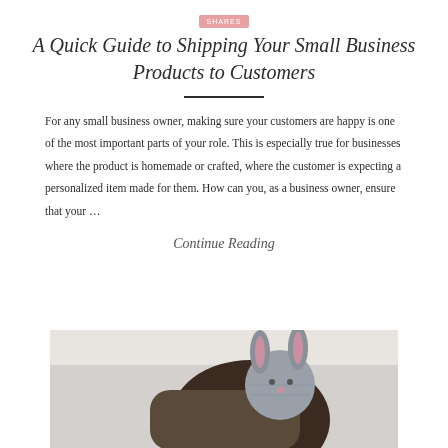SHARES
A Quick Guide to Shipping Your Small Business Products to Customers
For any small business owner, making sure your customers are happy is one of the most important parts of your role. This is especially true for businesses where the product is homemade or crafted, where the customer is expecting a personalized item made for them. How can you, as a business owner, ensure that your …
Continue Reading
[Figure (photo): Photo of a person holding a crocheted or knitted stuffed animal (bunny) with grey and pink colors, viewed from behind/side angle]